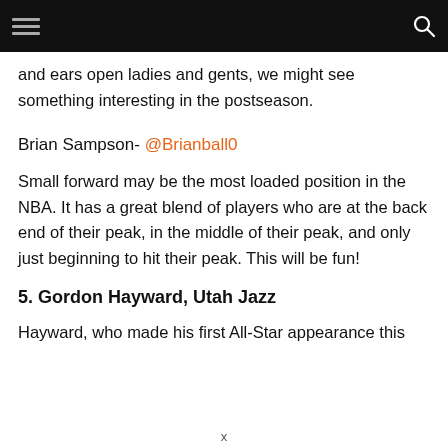[hamburger menu] [search icon]
and ears open ladies and gents, we might see something interesting in the postseason.
Brian Sampson- @Brianball0
Small forward may be the most loaded position in the NBA. It has a great blend of players who are at the back end of their peak, in the middle of their peak, and only just beginning to hit their peak. This will be fun!
5. Gordon Hayward, Utah Jazz
Hayward, who made his first All-Star appearance this